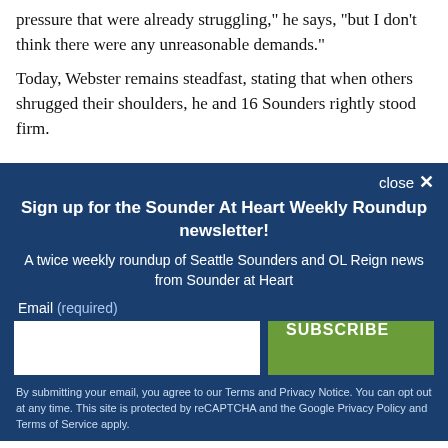pressure that were already struggling," he says, "but I don't think there were any unreasonable demands."
Today, Webster remains steadfast, stating that when others shrugged their shoulders, he and 16 Sounders rightly stood firm.
close ✕
Sign up for the Sounder At Heart Weekly Roundup newsletter!
A twice weekly roundup of Seattle Sounders and OL Reign news from Sounder at Heart
Email (required)
SUBSCRIBE
By submitting your email, you agree to our Terms and Privacy Notice. You can opt out at any time. This site is protected by reCAPTCHA and the Google Privacy Policy and Terms of Service apply.